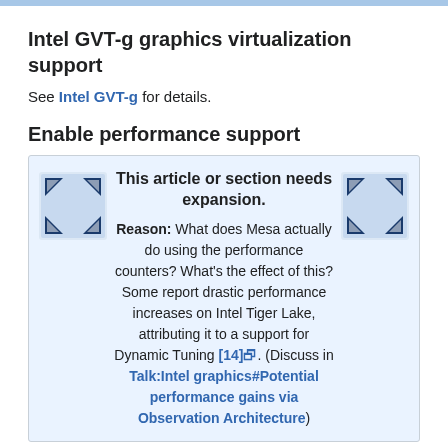Intel GVT-g graphics virtualization support
See Intel GVT-g for details.
Enable performance support
This article or section needs expansion.
Reason: What does Mesa actually do using the performance counters? What's the effect of this? Some report drastic performance increases on Intel Tiger Lake, attributing it to a support for Dynamic Tuning [14]. (Discuss in Talk:Intel graphics#Potential performance gains via Observation Architecture)
Starting with Gen6 (Sandy Bridge and onwards), Intel GPUs provide performance counters used for exposing internal